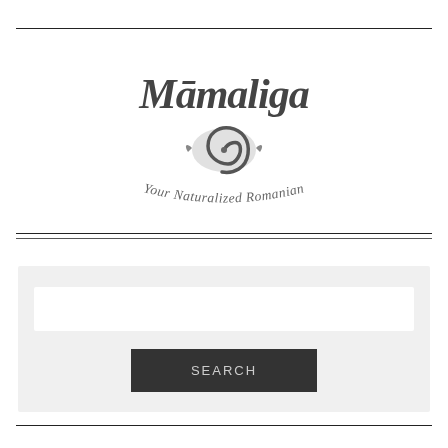[Figure (logo): Mamaliga logo with script text 'Mamaliga' and a spiral icon, subtitle 'Your Naturalized Romanian' in curved text]
SEARCH